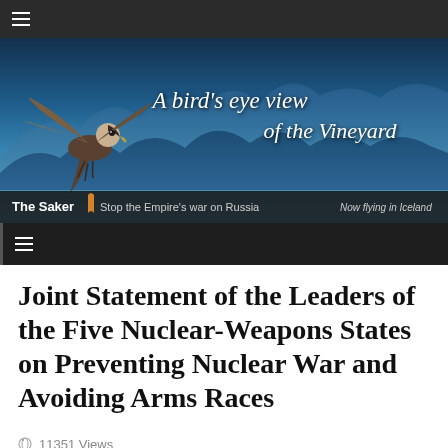[Figure (illustration): Website banner for 'The Saker' blog: falcon/hawk image on left with mountain landscape background, italic white text 'A bird's eye view of the Vineyard', dark bottom bar with site name, orange ribbon, tagline 'Stop the Empire's war on Russia', and 'Now flying in Iceland']
Joint Statement of the Leaders of the Five Nuclear-Weapons States on Preventing Nuclear War and Avoiding Arms Races
11351 Views
January 03, 2022
92 Comments